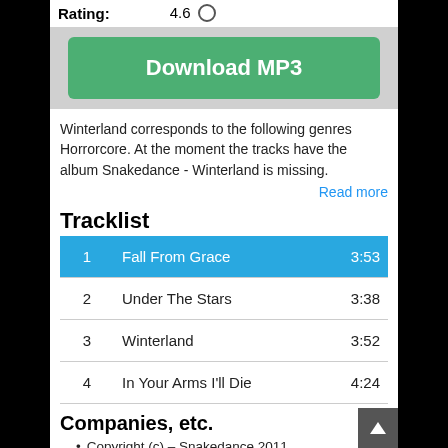Rating: 4.6
[Figure (other): Download MP3 green button]
Winterland corresponds to the following genres Horrorcore. At the moment the tracks have the album Snakedance - Winterland is missing.
Read more
Tracklist
| # | Title | Duration |
| --- | --- | --- |
| 1 | Fall From Grace | 3:53 |
| 2 | Under The Stars | 3:38 |
| 3 | Winterland | 3:52 |
| 4 | In Your Arms I'll Die | 4:24 |
Companies, etc.
Copyright (c) – Snakedance 2011
Licensed To – Secret Sin Records
Credits
Written-By, Producer – Marc McCourt